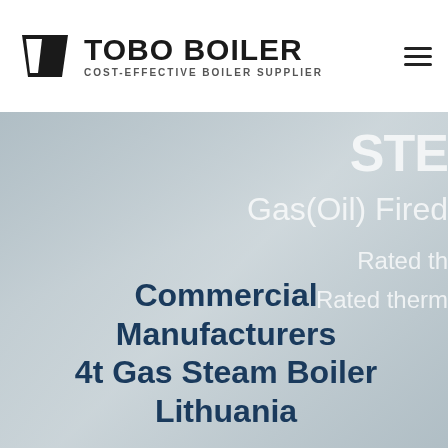[Figure (logo): TOBO BOILER logo with stylized black trapezoid icon and text 'TOBO BOILER' in bold, subtitle 'COST-EFFECTIVE BOILER SUPPLIER']
[Figure (photo): Background photo of industrial boiler equipment (gas/steam boiler), partially visible in grayscale overlay. Right side shows partial text overlay: 'Gas(Oil) Fired', 'Rated th...', 'Rated therm...' in light white text. Top right corner has large partial numbers/letters visible.]
Commercial Manufacturers 4t Gas Steam Boiler Lithuania